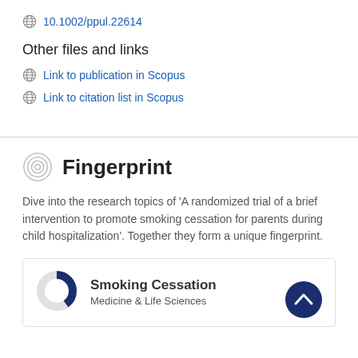10.1002/ppul.22614
Other files and links
Link to publication in Scopus
Link to citation list in Scopus
Fingerprint
Dive into the research topics of 'A randomized trial of a brief intervention to promote smoking cessation for parents during child hospitalization'. Together they form a unique fingerprint.
Smoking Cessation
Medicine & Life Sciences